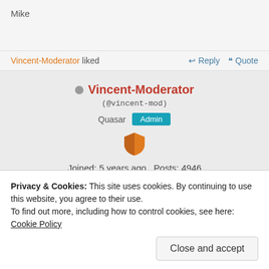Mike
Vincent-Moderator liked   Reply   Quote
Vincent-Moderator (@vincent-mod) Quasar Admin Joined: 5 years ago  Posts: 4946
Privacy & Cookies: This site uses cookies. By continuing to use this website, you agree to their use.
To find out more, including how to control cookies, see here: Cookie Policy
Close and accept